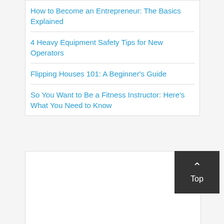How to Become an Entrepreneur: The Basics Explained
4 Heavy Equipment Safety Tips for New Operators
Flipping Houses 101: A Beginner's Guide
So You Want to Be a Fitness Instructor: Here's What You Need to Know
Top